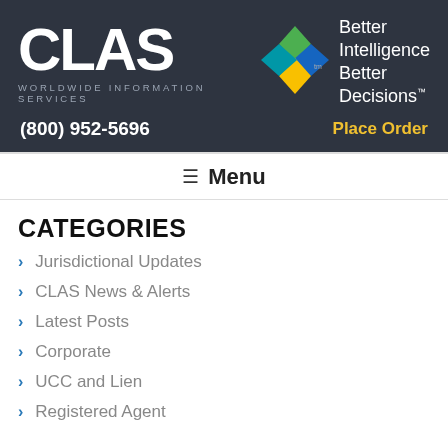CLAS WORLDWIDE INFORMATION SERVICES — Better Intelligence Better Decisions™ — (800) 952-5696 — Place Order
Menu
CATEGORIES
Jurisdictional Updates
CLAS News & Alerts
Latest Posts
Corporate
UCC and Lien
Registered Agent